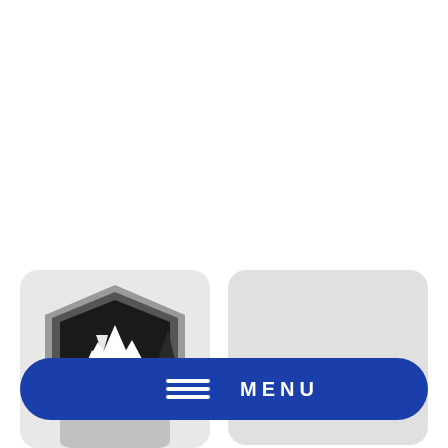[Figure (logo): Racing Competition shield logo with mountains, lightning bolt, and pine tree on dark background, displayed on a light gray rounded rectangle card]
[Figure (screenshot): Empty light gray rounded rectangle card to the right of the logo card]
[Figure (infographic): Blue rounded pill-shaped MENU button with hamburger menu icon (three horizontal lines) and the text MENU in white capital letters, spanning the width of both cards]